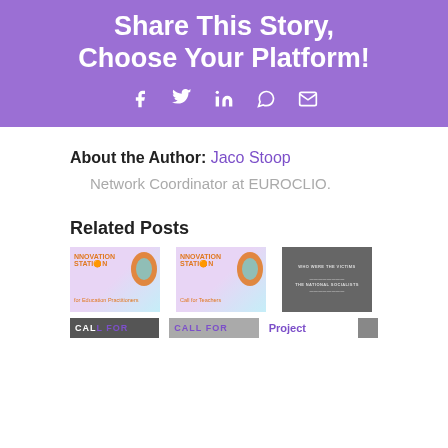Share This Story, Choose Your Platform!
[Figure (infographic): Social sharing icons: Facebook, Twitter, LinkedIn, WhatsApp, Email on purple background]
About the Author: Jaco Stoop
Network Coordinator at EUROCLIO.
Related Posts
[Figure (photo): Innovation Station for Education Practitioners thumbnail]
[Figure (photo): Innovation Station Call for Teachers thumbnail]
[Figure (photo): Who Were the Victims - National Socialists photo]
CALL FOR
CALL FOR
Project